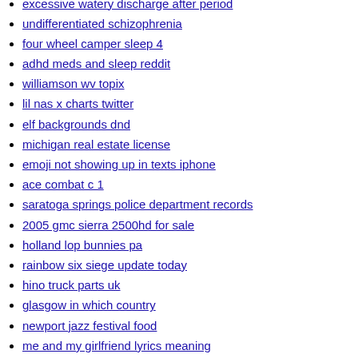excessive watery discharge after period
undifferentiated schizophrenia
four wheel camper sleep 4
adhd meds and sleep reddit
williamson wv topix
lil nas x charts twitter
elf backgrounds dnd
michigan real estate license
emoji not showing up in texts iphone
ace combat c 1
saratoga springs police department records
2005 gmc sierra 2500hd for sale
holland lop bunnies pa
rainbow six siege update today
hino truck parts uk
glasgow in which country
newport jazz festival food
me and my girlfriend lyrics meaning
free mandala svg for commercial use
y yoga classes
gse iptv for firestick 2021
who is malachi
how to spell moxy
high tide daytona beach shores today
precast concrete house cost